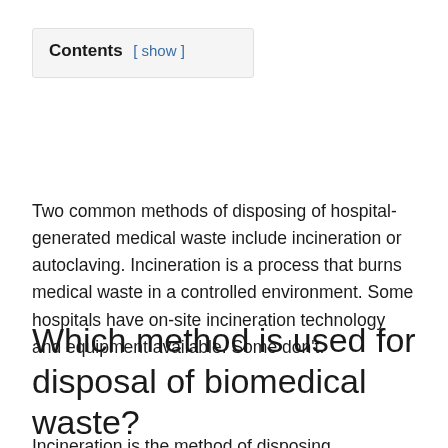Contents [ show ]
Two common methods of disposing of hospital-generated medical waste include incineration or autoclaving. Incineration is a process that burns medical waste in a controlled environment. Some hospitals have on-site incineration technology and equipment available. Some don’t.
Which method is used for disposal of biomedical waste?
Incineration is the method of disposing...